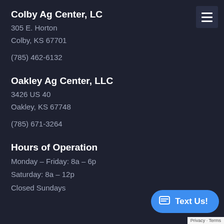Colby Ag Center, LC
305 E. Horton
Colby, KS 67701
(785) 462-6132
Oakley Ag Center, LLC
3426 US 40
Oakley, KS 67748
(785) 671-3264
Hours of Operation
Monday – Friday: 8a – 6p
Saturday: 8a – 12p
Closed Sundays
Privacy · Terms